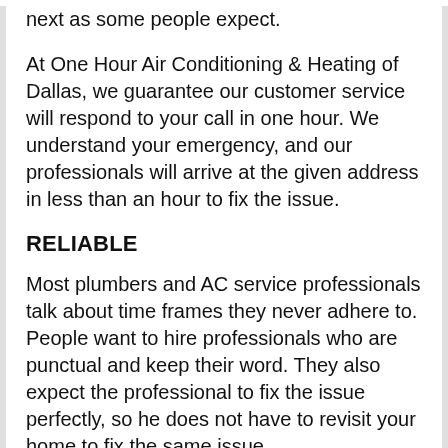next as some people expect.
At One Hour Air Conditioning & Heating of Dallas, we guarantee our customer service will respond to your call in one hour. We understand your emergency, and our professionals will arrive at the given address in less than an hour to fix the issue.
RELIABLE
Most plumbers and AC service professionals talk about time frames they never adhere to. People want to hire professionals who are punctual and keep their word. They also expect the professional to fix the issue perfectly, so he does not have to revisit your home to fix the same issue.
At One Hour Air Conditioning & Heating of